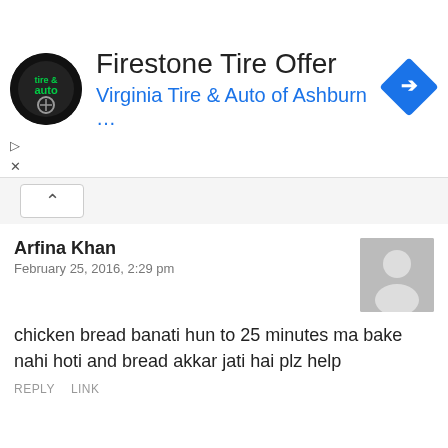[Figure (screenshot): Advertisement banner for Firestone Tire Offer from Virginia Tire & Auto of Ashburn with circular logo and blue navigation diamond icon]
Firestone Tire Offer
Virginia Tire & Auto of Ashburn …
Arfina Khan
February 25, 2016, 2:29 pm
chicken bread banati hun to 25 minutes ma bake nahi hoti and bread akkar jati hai plz help
REPLY   LINK
Neelam Hamid
February 26, 2016, 11:11 am
did u follow this recipe? dough should b soft and oven must be preheated. apply little oil on bread before